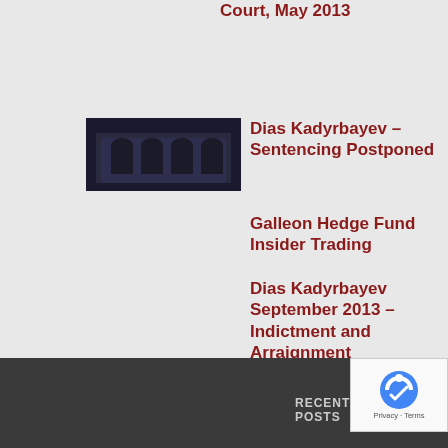Court, May 2013
[Figure (photo): Thumbnail photo of a building exterior with arched windows, dark toned]
Dias Kadyrbayev – Sentencing Postponed
Galleon Hedge Fund Insider Trading
Dias Kadyrbayev September 2013 – Indictment and Arraignment
RECENT POSTS    SIGNIFICANT
[Figure (logo): reCAPTCHA badge with Google logo and Privacy / Terms text]